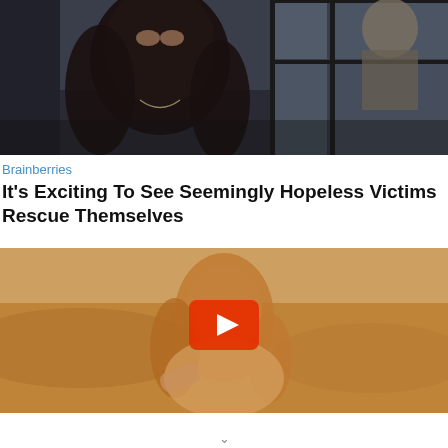[Figure (photo): A woman with long dark hair in a dark top standing near a window, with a man visible through the glass behind her. Dark, moody tone.]
Brainberries
It's Exciting To See Seemingly Hopeless Victims Rescue Themselves
[Figure (photo): A young woman with long blonde/brown hair leaning forward in a desert landscape. A YouTube play button overlay is centered on the image.]